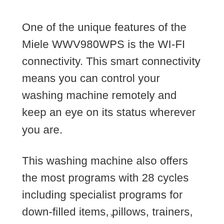One of the unique features of the Miele WWV980WPS is the WI-FI connectivity. This smart connectivity means you can control your washing machine remotely and keep an eye on its status wherever you are.
This washing machine also offers the most programs with 28 cycles including specialist programs for down-filled items, pillows, trainers, silk, denim, and much more.
×